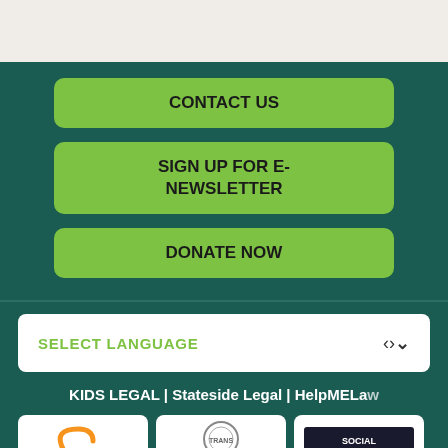CONTACT US
SIGN UP FOR E-NEWSLETTER
DONATE NOW
SELECT LANGUAGE
KIDS LEGAL | Stateside Legal | HelpMELaw
[Figure (logo): Three organization logos in white boxes at the bottom]
KIDS LEGAL | Stateside Legal | HelpMELaw